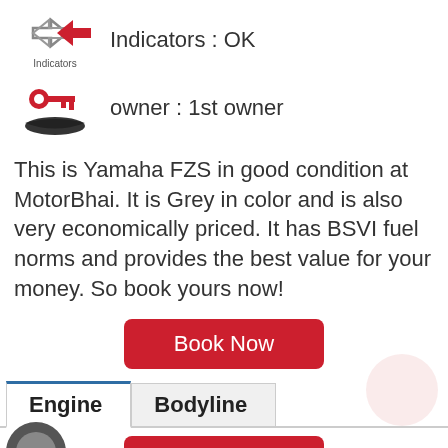[Figure (illustration): Indicators icon: left and right arrow icons in red/grey with label 'Indicators' below]
Indicators : OK
[Figure (illustration): Owner icon: red key on a hand silhouette]
owner : 1st owner
This is Yamaha FZS in good condition at MotorBhai. It is Grey in color and is also very economically priced. It has BSVI fuel norms and provides the best value for your money. So book yours now!
Book Now
Engine
Bodyline
Book Now